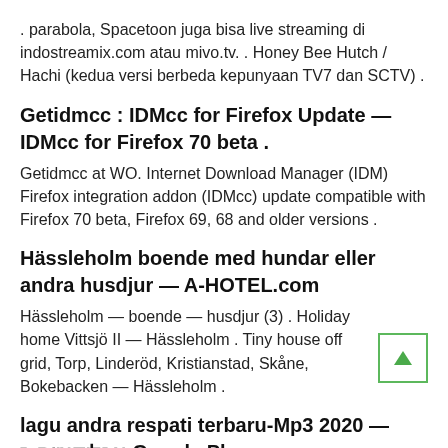. parabola, Spacetoon juga bisa live streaming di indostreamix.com atau mivo.tv. . Honey Bee Hutch / Hachi (kedua versi berbeda kepunyaan TV7 dan SCTV) .
Getidmcc : IDMcc for Firefox Update — IDMcc for Firefox 70 beta .
Getidmcc at WO. Internet Download Manager (IDM) Firefox integration addon (IDMcc) update compatible with Firefox 70 beta, Firefox 69, 68 and older versions .
Hässleholm boende med hundar eller andra husdjur — A-HOTEL.com
Hässleholm — boende — husdjur (3) . Holiday home Vittsjö II — Hässleholm . Tiny house off grid, Torp, Linderöd, Kristianstad, Skåne, Bokebacken — Hässleholm .
lagu andra respati terbaru-Mp3 2020 — אפליקציות ב-Google Play